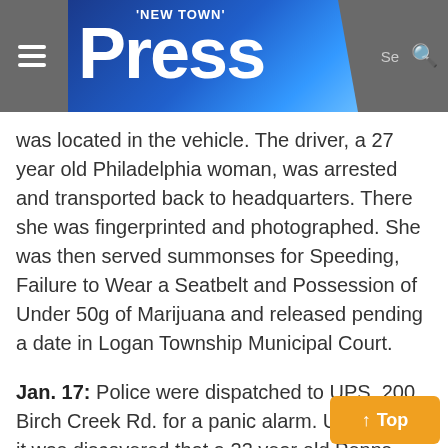'New Town' Press
was located in the vehicle. The driver, a 27 year old Philadelphia woman, was arrested and transported back to headquarters. There she was fingerprinted and photographed. She was then served summonses for Speeding, Failure to Wear a Seatbelt and Possession of Under 50g of Marijuana and released pending a date in Logan Township Municipal Court.
Jan. 17: Police were dispatched to UPS, 200 Birch Creek Rd. for a panic alarm. Upon arrival it was discovered that a 23 year old Penns Grove woman had been terminated for poor work performance and become irate, refusi...